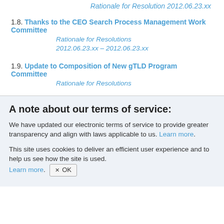Rationale for Resolution 2012.06.23.xx
1.8. Thanks to the CEO Search Process Management Work Committee
Rationale for Resolutions
2012.06.23.xx – 2012.06.23.xx
1.9. Update to Composition of New gTLD Program Committee
Rationale for Resolutions
A note about our terms of service:
We have updated our electronic terms of service to provide greater transparency and align with laws applicable to us. Learn more.
This site uses cookies to deliver an efficient user experience and to help us see how the site is used. Learn more.  ✕ OK